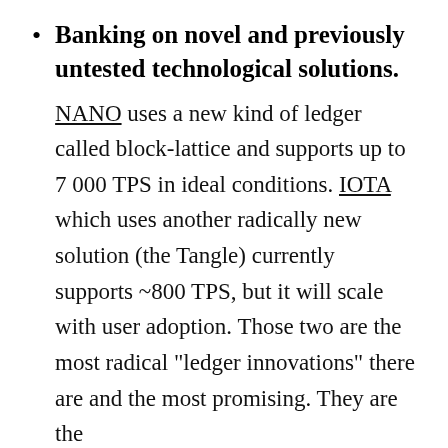Banking on novel and previously untested technological solutions. NANO uses a new kind of ledger called block-lattice and supports up to 7 000 TPS in ideal conditions. IOTA which uses another radically new solution (the Tangle) currently supports ~800 TPS, but it will scale with user adoption. Those two are the most radical “ledger innovations” there are and the most promising. They are the